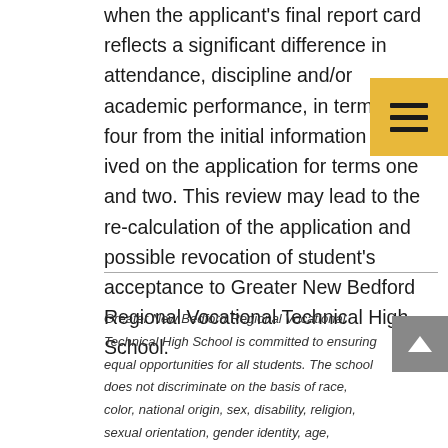when the applicant's final report card reflects a significant difference in attendance, discipline and/or academic performance, in terms and four from the initial information received on the application for terms one and two. This review may lead to the re-calculation of the application and possible revocation of student's acceptance to Greater New Bedford Regional Vocational Technical High School.
Greater New Bedford Regional Vocational Technical High School is committed to ensuring equal opportunities for all students. The school does not discriminate on the basis of race, color, national origin, sex, disability, religion, sexual orientation, gender identity, age, homelessness, immigration status or veteran status in its education programs and activities, including admission to or employment in such programs or